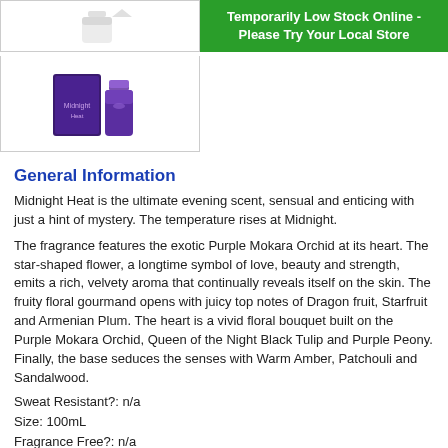[Figure (photo): Product thumbnail image showing white/clear fragrance bottle and cap on white background]
Temporarily Low Stock Online - Please Try Your Local Store
[Figure (photo): Product thumbnail showing Midnight Heat fragrance box (purple/dark) and bottle]
General Information
Midnight Heat is the ultimate evening scent, sensual and enticing with just a hint of mystery. The temperature rises at Midnight.
The fragrance features the exotic Purple Mokara Orchid at its heart. The star-shaped flower, a longtime symbol of love, beauty and strength, emits a rich, velvety aroma that continually reveals itself on the skin. The fruity floral gourmand opens with juicy top notes of Dragon fruit, Starfruit and Armenian Plum. The heart is a vivid floral bouquet built on the Purple Mokara Orchid, Queen of the Night Black Tulip and Purple Peony. Finally, the base seduces the senses with Warm Amber, Patchouli and Sandalwood.
Sweat Resistant?: n/a
Size: 100mL
Fragrance Free?: n/a
Dermatologist Tested?: n/a